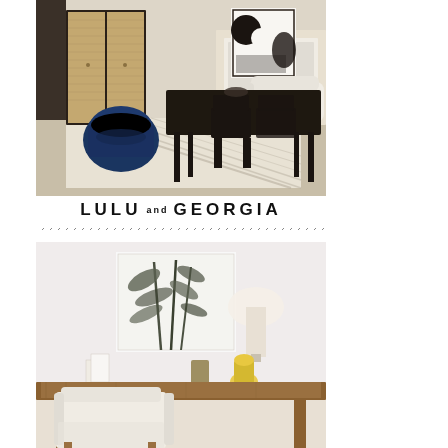[Figure (photo): Interior room scene showing a dining/living room with a navy blue upholstered barrel chair in the foreground, a dark wood dining table with black chairs, rattan cabinet/wardrobe in the background, abstract black and white wall art, white sofa, and a striped area rug on light hardwood floors.]
LULU AND GEORGIA
[Figure (photo): Home office scene featuring a light walnut wood desk with a white upholstered chair, a large table lamp with white shade, yellow decorative objects, art/botanical print on the wall behind, and various desk accessories in a bright white room.]